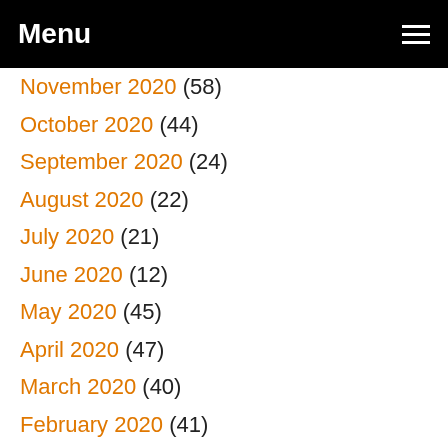Menu
November 2020 (58)
October 2020 (44)
September 2020 (24)
August 2020 (22)
July 2020 (21)
June 2020 (12)
May 2020 (45)
April 2020 (47)
March 2020 (40)
February 2020 (41)
January 2020 (38)
December 2019 (43)
November 2019 (35)
October 2019 (30)
September 2019 (50)